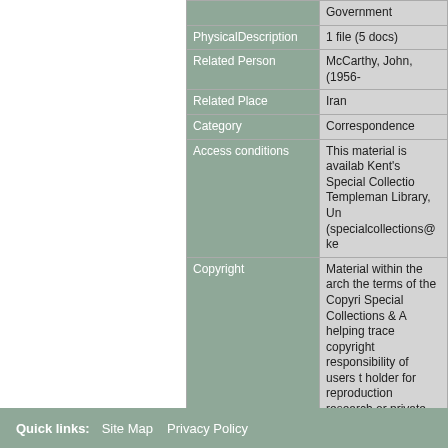| Field | Value |
| --- | --- |
|  | Government |
| PhysicalDescription | 1 file (5 docs) |
| Related Person | McCarthy, John, (1956- |
| Related Place | Iran |
| Category | Correspondence |
| Access conditions | This material is availab Kent's Special Collectio Templeman Library, Un (specialcollections@ke |
| Copyright | Material within the arch the terms of the Copyri Special Collections & A helping trace copyright responsibility of users t holder for reproduction research or private stu |
| Level | Item |
Quick links:  Site Map  Privacy Policy